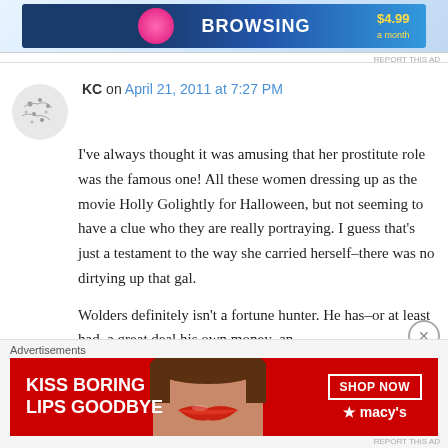[Figure (other): Top advertisement banner with dark blue background showing 'BROWSING' text in white bold letters with a pink circle icon on the left and a price tag on the right]
KC on April 21, 2011 at 7:27 PM
I've always thought it was amusing that her prostitute role was the famous one! All these women dressing up as the movie Holly Golightly for Halloween, but not seeming to have a clue who they are really portraying. I guess that's just a testament to the way she carried herself–there was no dirtying up that gal.

Wolders definitely isn't a fortune hunter. He has–or at least had–a great deal his own money–an
Advertisements
[Figure (other): Bottom advertisement banner for Macy's with red background showing 'KISS BORING LIPS GOODBYE' text with a woman's face and lips, and a 'SHOP NOW' button with Macy's star logo]